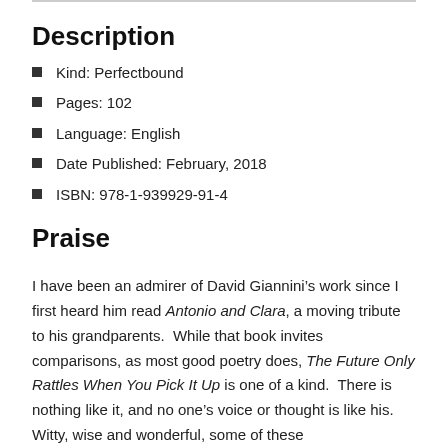Description
Kind: Perfectbound
Pages: 102
Language: English
Date Published: February, 2018
ISBN: 978-1-939929-91-4
Praise
I have been an admirer of David Giannini’s work since I first heard him read Antonio and Clara, a moving tribute to his grandparents.  While that book invites comparisons, as most good poetry does, The Future Only Rattles When You Pick It Up is one of a kind.  There is nothing like it, and no one’s voice or thought is like his.  Witty, wise and wonderful, some of these